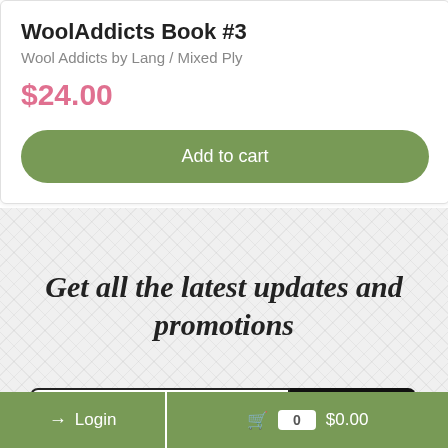WoolAddicts Book #3
Wool Addicts by Lang / Mixed Ply
$24.00
Add to cart
Get all the latest updates and promotions
Email Address
Subscribe
Login
0  $0.00